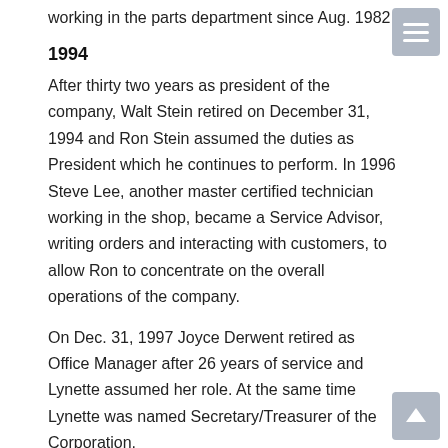working in the parts department since Aug. 1982.
1994
After thirty two years as president of the company, Walt Stein retired on December 31, 1994 and Ron Stein assumed the duties as President which he continues to perform. In 1996 Steve Lee, another master certified technician working in the shop, became a Service Advisor, writing orders and interacting with customers, to allow Ron to concentrate on the overall operations of the company.
On Dec. 31, 1997 Joyce Derwent retired as Office Manager after 26 years of service and Lynette assumed her role. At the same time Lynette was named Secretary/Treasurer of the Corporation.
2002
2002 Charley Walker retirement In Aug. 2002 the third